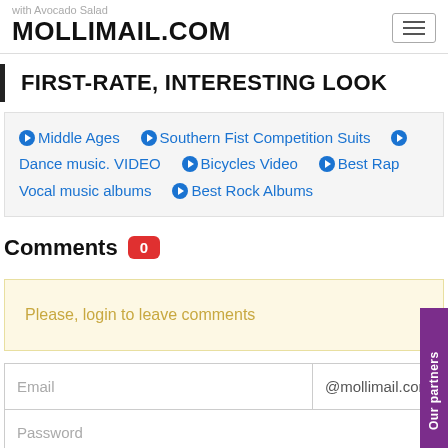with Avocado Salad
MOLLIMAIL.COM
FIRST-RATE, INTERESTING LOOK
Middle Ages
Southern Fist Competition Suits
Dance music. VIDEO
Bicycles Video
Best Rap Vocal music albums
Best Rock Albums
Comments 0
Please, login to leave comments
Email @mollimail.com
Password